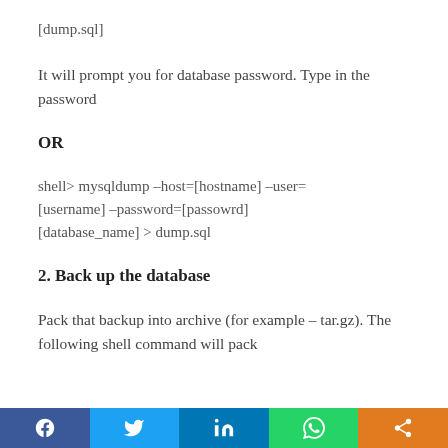[dump.sql]
It will prompt you for database password. Type in the password
OR
shell> mysqldump –host=[hostname] –user=[username] –password=[passowrd] [database_name] > dump.sql
2. Back up the database
Pack that backup into archive (for example – tar.gz). The following shell command will pack